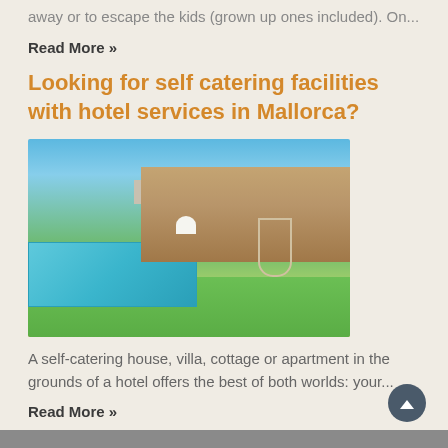away or to escape the kids (grown up ones included). On...
Read More »
Looking for self catering facilities with hotel services in Mallorca?
[Figure (photo): A stone villa with a swimming pool in the foreground, green lawn, patio chairs, and a hanging swing chair under a blue sky.]
A self-catering house, villa, cottage or apartment in the grounds of a hotel offers the best of both worlds: your...
Read More »